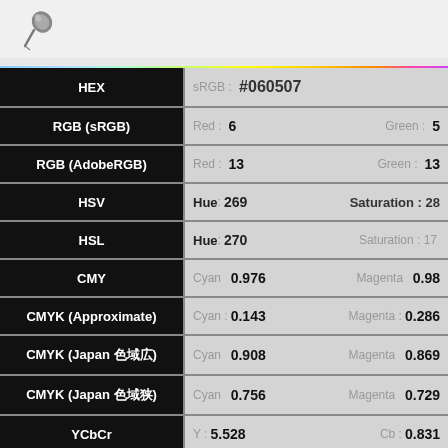[Figure (other): Pin/thumbtack icon in top-left header area]
[Figure (other): Rainbow/spectrum horizontal gradient bar]
| Color Space | Value 1 | Value 2 |
| --- | --- | --- |
| HEX | sRGB : #060507 |  |
| RGB (sRGB) | Red : 6 | Green : 5 |
| RGB (AdobeRGB) | Red : 13 | Green : 13 |
| HSV | Hue : 269 | Saturation : 28 |
| HSL | Hue : 270 | Saturation : 17 |
| CMY | Cyan : 0.976 | Magenta : 0.98 |
| CMYK (Approximate) | Cyan : 0.143 | Magenta : 0.286 |
| CMYK (Japan 色域広) | Cyan : 0.908 | Magenta : 0.869 |
| CMYK (Japan 色域狭) | Cyan : 0.756 | Magenta : 0.729 |
| YCbCr | Y : 5.528 | Cb : 0.831 |